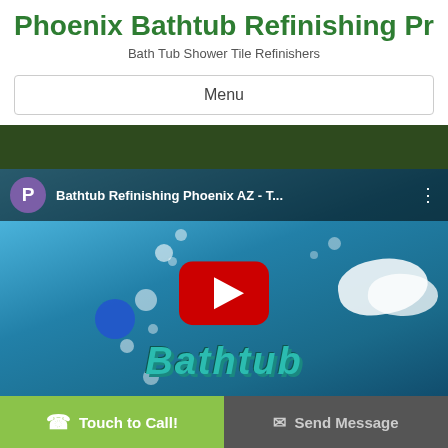Phoenix Bathtub Refinishing Pr
Bath Tub Shower Tile Refinishers
Menu
[Figure (screenshot): YouTube video thumbnail showing 'Bathtub Refinishing Phoenix AZ - T...' with channel icon P, animated bubbles, teal bathtub logo text, red YouTube play button, and Free Quote phone number overlay]
Free Quote: (602) 691-6552
☎ Touch to Call!
✉ Send Message